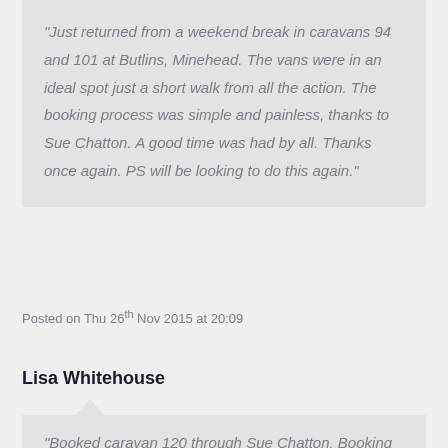“Just returned from a weekend break in caravans 94 and 101 at Butlins, Minehead. The vans were in an ideal spot just a short walk from all the action. The booking process was simple and painless, thanks to Sue Chatton. A good time was had by all. Thanks once again. PS will be looking to do this again.”
Posted on Thu 26th Nov 2015 at 20:09
Lisa Whitehouse
“Booked caravan 120 through Sue Chatton. Booking